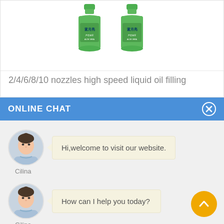[Figure (photo): Two green plastic bottles of 蓝月亮 (Blue Moon) liquid detergent/soap product, shown from the front on a white background.]
2/4/6/8/10 nozzles high speed liquid oil filling
ONLINE CHAT
[Figure (photo): Avatar photo of a young woman named Cilina in a light blue shirt.]
Hi,welcome to visit our website.
Cilina
[Figure (photo): Avatar photo of a young woman named Cilina in a light blue shirt.]
How can I help you today?
Cilina